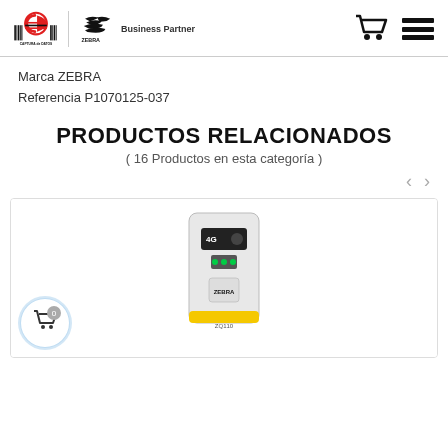[Figure (logo): CD Captura de Datos logo with red circle and horizontal lines, paired with Zebra Business Partner logo]
Marca ZEBRA
Referencia P1070125-037
PRODUCTOS RELACIONADOS
( 16 Productos en esta categoría )
[Figure (photo): Zebra ZQ series mobile printer product photo, yellow and black device with display and buttons]